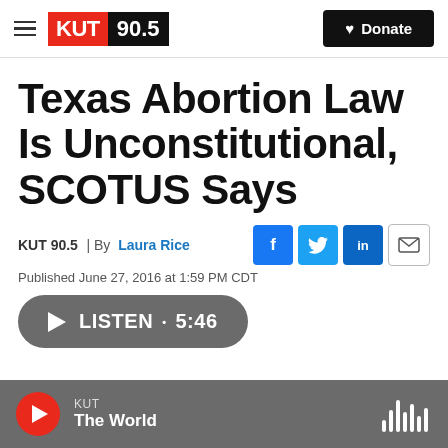KUT 90.5 | Donate
Texas Abortion Law Is Unconstitutional, SCOTUS Says
KUT 90.5 | By Laura Rice
Published June 27, 2016 at 1:59 PM CDT
LISTEN • 5:46
KUT The World